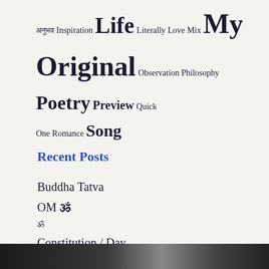अनुभव Inspiration Life Literally Love Mix My Original Observation Philosophy Poetry Preview Quick One Romance Song
Recent Posts
Buddha Tatva
OM 🕉
ॐ
Constitution / Day
Dharma Karma: Notion of Heaven Abode: Reality: Duryodhana and such didn't get Swarga post death
Watch
[Figure (photo): Dark thumbnail image for Watch section at bottom of page]